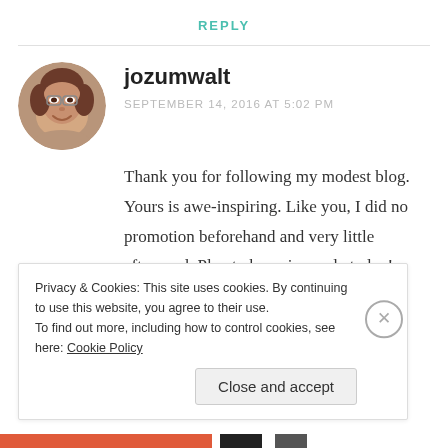REPLY
[Figure (photo): Circular avatar photo of a woman with short brown hair and glasses, smiling]
jozumwalt
SEPTEMBER 14, 2016 AT 5:02 PM
Thank you for following my modest blog. Yours is awe-inspiring. Like you, I did no promotion beforehand and very little afterward. Plan to buy pineapple today!
Privacy & Cookies: This site uses cookies. By continuing to use this website, you agree to their use.
To find out more, including how to control cookies, see here: Cookie Policy
Close and accept